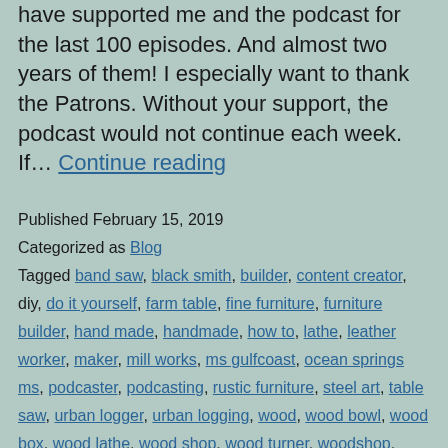have supported me and the podcast for the last 100 episodes. And almost two years of them! I especially want to thank the Patrons. Without your support, the podcast would not continue each week. If… Continue reading
Published February 15, 2019
Categorized as Blog
Tagged band saw, black smith, builder, content creator, diy, do it yourself, farm table, fine furniture, furniture builder, hand made, handmade, how to, lathe, leather worker, maker, mill works, ms gulfcoast, ocean springs ms, podcaster, podcasting, rustic furniture, steel art, table saw, urban logger, urban logging, wood, wood bowl, wood box, wood lathe, wood shop, wood turner, woodshop,